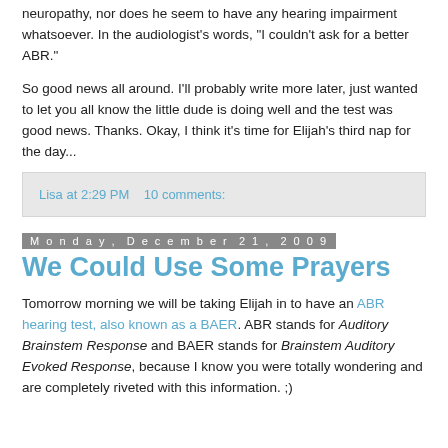neuropathy, nor does he seem to have any hearing impairment whatsoever. In the audiologist's words, "I couldn't ask for a better ABR."
So good news all around. I'll probably write more later, just wanted to let you all know the little dude is doing well and the test was good news. Thanks. Okay, I think it's time for Elijah's third nap for the day...
Lisa at 2:29 PM    10 comments:
Monday, December 21, 2009
We Could Use Some Prayers
Tomorrow morning we will be taking Elijah in to have an ABR hearing test, also known as a BAER. ABR stands for Auditory Brainstem Response and BAER stands for Brainstem Auditory Evoked Response, because I know you were totally wondering and are completely riveted with this information. ;)